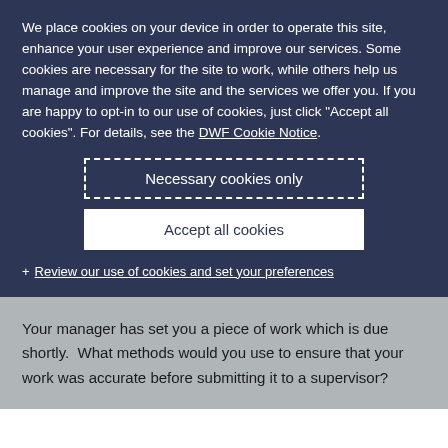We place cookies on your device in order to operate this site, enhance your user experience and improve our services. Some cookies are necessary for the site to work, while others help us manage and improve the site and the services we offer you. If you are happy to opt-in to our use of cookies, just click "Accept all cookies". For details, see the DWF Cookie Notice.
Necessary cookies only
Accept all cookies
+ Review our use of cookies and set your preferences
Your manager has set you a piece of work which is due shortly.  What methods would you use to ensure that your work was accurate before submitting it to a supervisor?